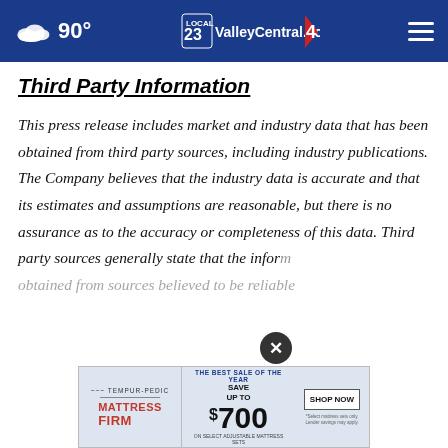90° ValleyCentral.com
Third Party Information
This press release includes market and industry data that has been obtained from third party sources, including industry publications. The Company believes that the industry data is accurate and that its estimates and assumptions are reasonable, but there is no assurance as to the accuracy or completeness of this data. Third party sources generally state that the information contained therein has been obtained from sources believed to be reliable
[Figure (other): Tempur-Pedic / Mattress Firm advertisement banner: THE BEST SALE OF THE YEAR SAVE UP TO $700 ON SELECT ADJUSTABLE MATTRESS SETS. SHOP NOW button.]